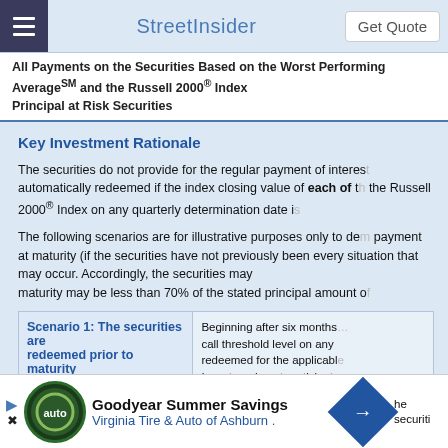StreetInsider | Get Quote
All Payments on the Securities Based on the Worst Performing Averageˢᴹ and the Russell 2000® Index Principal at Risk Securities
Key Investment Rationale
The securities do not provide for the regular payment of interest. However, the securities will be automatically redeemed if the index closing value of each of the Dow Jones Industrial Averageˢᴹ and the Russell 2000® Index on any quarterly determination date is at or above the call threshold level.
The following scenarios are for illustrative purposes only to demonstrate how the call premium and payment at maturity (if the securities have not previously been redeemed) are calculated, and do not cover every situation that may occur. Accordingly, the securities may lose value, and the payment at maturity may be less than 70% of the stated principal amount of your securities.
| Scenario | Description |
| --- | --- |
| Scenario 1: The securities are redeemed prior to maturity | Beginning after six months, if the index closing value of each index is at or above the call threshold level on any quarterly determination date, the securities will be automatically redeemed for the applicable call settlement amount. Investors do not participate in any appreciation of either index. |
This scenario assumes that... if the quarterly... the securiti...
Goodyear Summer Savings — Virginia Tire & Auto of Ashburn